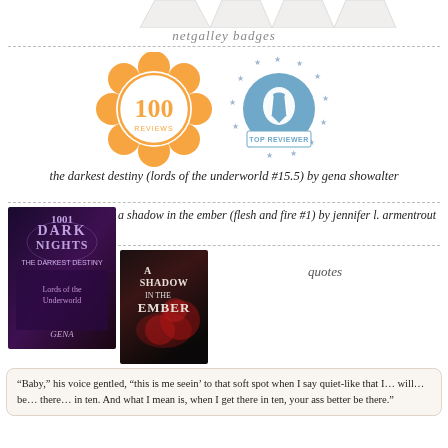[Figure (illustration): Partial view of four white cup/mug shapes at the very top of the page, cropped]
netgalley badges
[Figure (illustration): Two NetGalley badges: left badge is orange with '100 REVIEWS' text inside a flower/cloud shape; right badge is blue circle with star border and pencil icon labeled 'TOP REVIEWER']
the darkest destiny (lords of the underworld #15.5) by gena showalter
[Figure (illustration): Book cover of 'The Darkest Destiny' - 1001 Dark Nights series, Lords of the Underworld novella by Gena Showalter, dark purple/red cover]
a shadow in the ember (flesh and fire #1) by jennifer l. armentrout
[Figure (illustration): Book cover of 'A Shadow in the Ember' - dark atmospheric cover with red roses and ember/fire imagery]
quotes
“Baby,” his voice gentled, “this is me seein’ to that soft spot when I say quiet-like that I… will… be… there… in ten. And what I mean is, when I get there in ten, your ass better be there.”